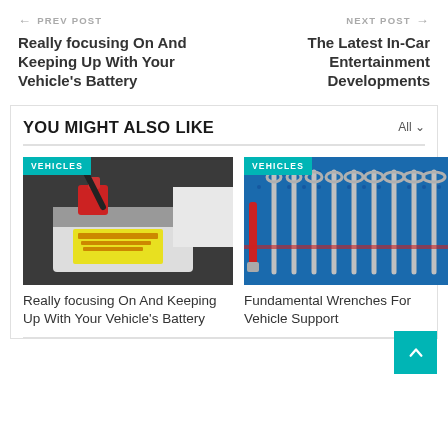← PREV POST
Really focusing On And Keeping Up With Your Vehicle's Battery
NEXT POST →
The Latest In-Car Entertainment Developments
YOU MIGHT ALSO LIKE
[Figure (photo): Car battery with red cap and yellow label inside vehicle engine bay, with VEHICLES badge]
[Figure (photo): Set of wrenches and tools hanging on blue pegboard, with VEHICLES badge]
Really focusing On And Keeping Up With Your Vehicle's Battery
Fundamental Wrenches For Vehicle Support